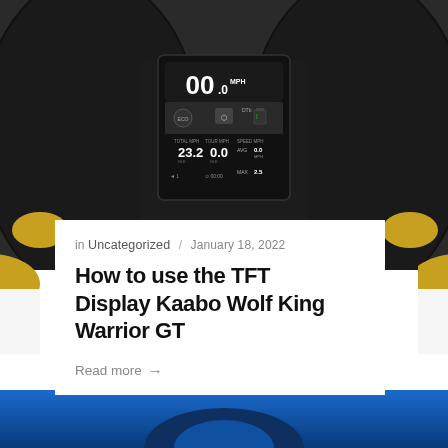[Figure (photo): Close-up photo of a TFT display mounted on electric scooter handlebars, showing speed 00.0 MPH, distance 23.2, tour info 0.0, AVG and MAX speed readings. Black handlebars visible.]
in Uncategorized / January 18, 2022
How to use the TFT Display Kaabo Wolf King Warrior GT
Read more →
[Figure (photo): Bottom portion of another article image showing blue tones, partially cropped.]